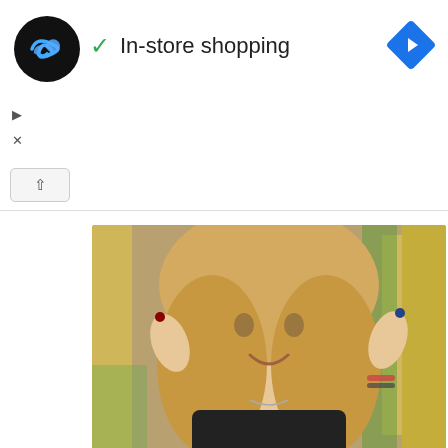[Figure (screenshot): Ad banner showing a black circular logo with infinity-like symbol, a green checkmark with 'In-store shopping' text, a blue diamond navigation icon top-right, and small play/close controls on the left. A collapse chevron button is visible below.]
[Figure (photo): Photo of a smiling blonde woman in a black top holding up two small hearing aids, one in each hand, with a yellow and green background suggesting an outdoor setting.]
Fighting Hearing Loss? Try This Immediately!
hear.com
[Figure (photo): Partial close-up photo of a woman's eyes with striking brown irises and long eyelashes, partially visible at the bottom of the page.]